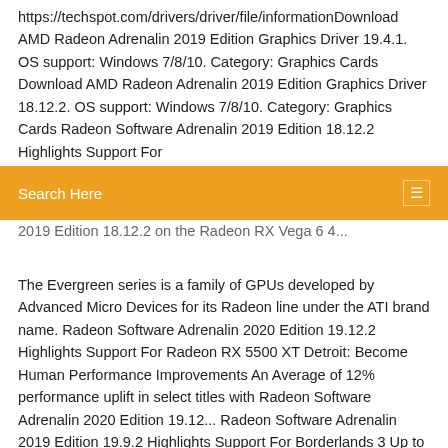https://techspot.com/drivers/driver/file/informationDownload AMD Radeon Adrenalin 2019 Edition Graphics Driver 19.4.1. OS support: Windows 7/8/10. Category: Graphics Cards Download AMD Radeon Adrenalin 2019 Edition Graphics Driver 18.12.2. OS support: Windows 7/8/10. Category: Graphics Cards Radeon Software Adrenalin 2019 Edition 18.12.2 Highlights Support For
Search Here
2019 Edition 18.12.2 on the Radeon RX Vega 6 4...
The Evergreen series is a family of GPUs developed by Advanced Micro Devices for its Radeon line under the ATI brand name. Radeon Software Adrenalin 2020 Edition 19.12.2 Highlights Support For Radeon RX 5500 XT Detroit: Become Human Performance Improvements An Average of 12% performance uplift in select titles with Radeon Software Adrenalin 2020 Edition 19.12... Radeon Software Adrenalin 2019 Edition 19.9.2 Highlights Support For Borderlands 3 Up to 16%